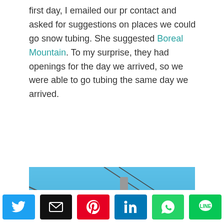first day, I emailed our pr contact and asked for suggestions on places we could go snow tubing. She suggested Boreal Mountain. To my surprise, they had openings for the day we arrived, so we were able to go tubing the same day we arrived.
[Figure (photo): Photo of a ski lift chair against a bright blue sky, with cables running diagonally across the frame.]
Social share buttons: Twitter, Email, Pinterest, LinkedIn, WhatsApp, LINE